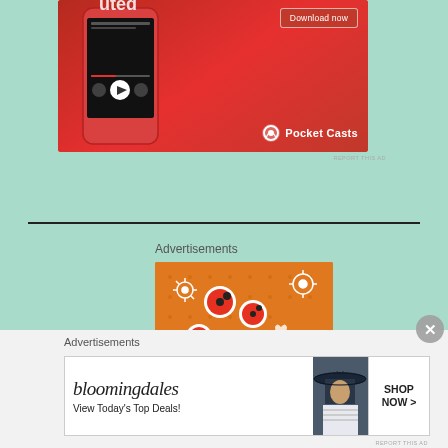[Figure (photo): Pocket Casts app advertisement showing a smartphone on a red background with 'Download now' button and Pocket Casts logo]
Advertisements
[Figure (illustration): Orange advertisement with ladybug and floral pattern illustrations]
Advertisements
[Figure (photo): Bloomingdales advertisement: 'bloomingdales - View Today's Top Deals!' with SHOP NOW button and woman in hat photo]